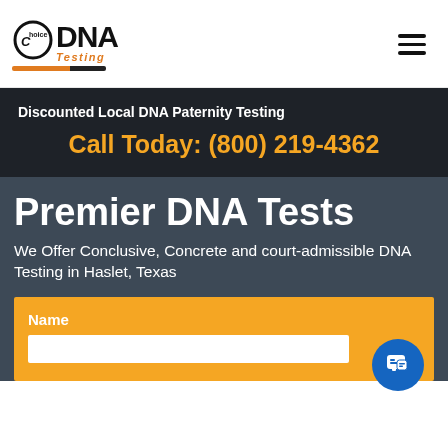[Figure (logo): Choice DNA Testing logo with stylized C circle, bold DNA text, and orange/black underline]
Discounted Local DNA Paternity Testing
Call Today: (800) 219-4362
Premier DNA Tests
We Offer Conclusive, Concrete and court-admissible DNA Testing in Haslet, Texas
Name